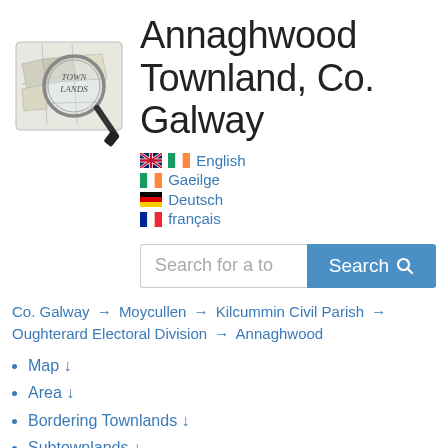[Figure (logo): Townlands logo: magnifying glass over an old map with text TOWN LANDS]
Annaghwood Townland, Co. Galway
English
Gaeilge
Deutsch
français
Search for a to  Search
Co. Galway → Moycullen → Kilcummin Civil Parish → Oughterard Electoral Division → Annaghwood
Map ↓
Area ↓
Bordering Townlands ↓
Subtownlands ↓
Records Search ↓